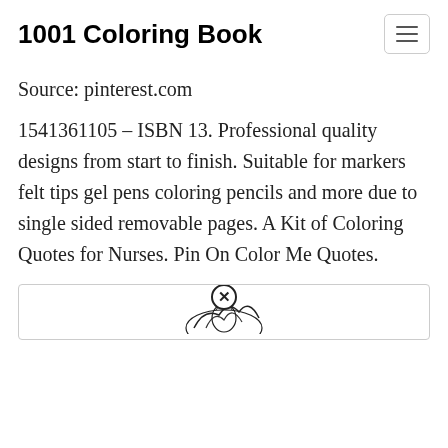1001 Coloring Book
Source: pinterest.com
1541361105 – ISBN 13. Professional quality designs from start to finish. Suitable for markers felt tips gel pens coloring pencils and more due to single sided removable pages. A Kit of Coloring Quotes for Nurses. Pin On Color Me Quotes.
[Figure (illustration): Partial view of a coloring book illustration — appears to show a decorative figure, partially visible at the bottom of the page, with a circular close/remove badge overlay at the top center.]